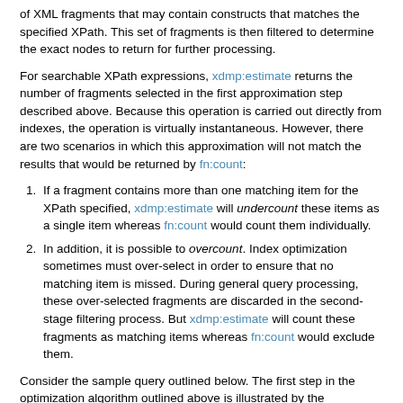of XML fragments that may contain constructs that matches the specified XPath. This set of fragments is then filtered to determine the exact nodes to return for further processing.
For searchable XPath expressions, xdmp:estimate returns the number of fragments selected in the first approximation step described above. Because this operation is carried out directly from indexes, the operation is virtually instantaneous. However, there are two scenarios in which this approximation will not match the results that would be returned by fn:count:
If a fragment contains more than one matching item for the XPath specified, xdmp:estimate will undercount these items as a single item whereas fn:count would count them individually.
In addition, it is possible to overcount. Index optimization sometimes must over-select in order to ensure that no matching item is missed. During general query processing, these over-selected fragments are discarded in the second-stage filtering process. But xdmp:estimate will count these fragments as matching items whereas fn:count would exclude them.
Consider the sample query outlined below. The first step in the optimization algorithm outlined above is illustrated by the xdmp:query-trace output shown after the query:
Query: